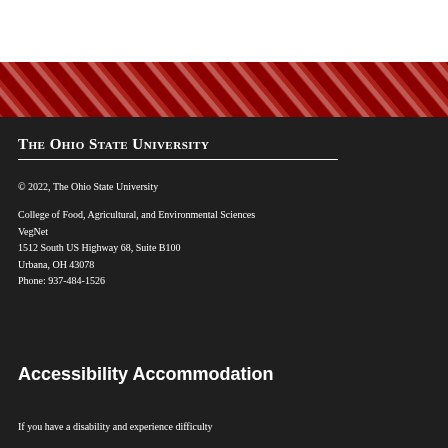[Figure (other): Diagonal red and white stripe decorative band]
The Ohio State University
© 2022, The Ohio State University
College of Food, Agricultural, and Environmental Sciences
VegNet
1512 South US Highway 68, Suite B100
Urbana, OH 43078
Phone: 937-484-1526
Accessibility Accommodation
If you have a disability and experience difficulty